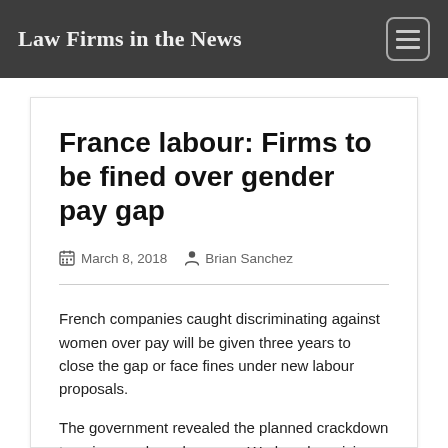Law Firms in the News
France labour: Firms to be fined over gender pay gap
March 8, 2018  Brian Sanchez
French companies caught discriminating against women over pay will be given three years to close the gap or face fines under new labour proposals.
The government revealed the planned crackdown to unions and employers on Wednesday, giving them a